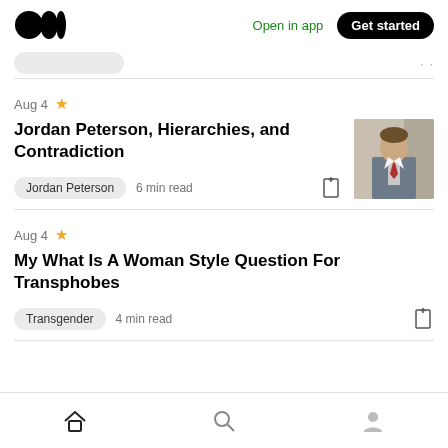Medium — Open in app — Get started
Aug 4
Jordan Peterson, Hierarchies, and Contradiction
Jordan Peterson  6 min read
Aug 4
My What Is A Woman Style Question For Transphobes
Transgender  4 min read
Home  Search  Profile